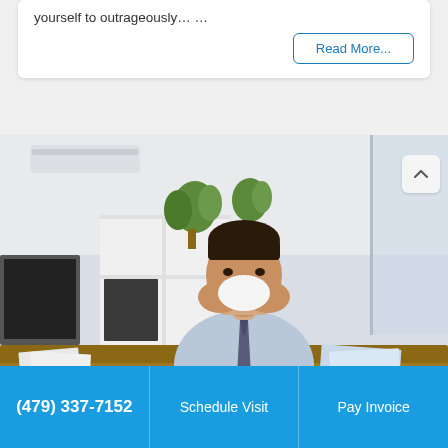yourself to outrageously… …
Read More...
[Figure (photo): Man in office sitting at a desk blowing his nose with a tissue, appearing sick. Office background with white shelving unit, plants, and computer monitor visible.]
(479) 337-7152    Schedule Visit    Pay Invoice